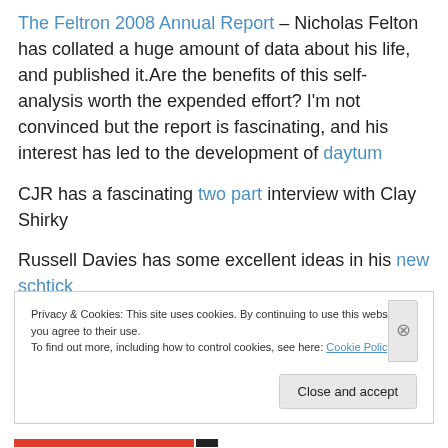The Feltron 2008 Annual Report – Nicholas Felton has collated a huge amount of data about his life, and published it.Are the benefits of this self-analysis worth the expended effort? I'm not convinced but the report is fascinating, and his interest has led to the development of daytum
CJR has a fascinating two part interview with Clay Shirky
Russell Davies has some excellent ideas in his new schtick
Privacy & Cookies: This site uses cookies. By continuing to use this website, you agree to their use.
To find out more, including how to control cookies, see here: Cookie Policy